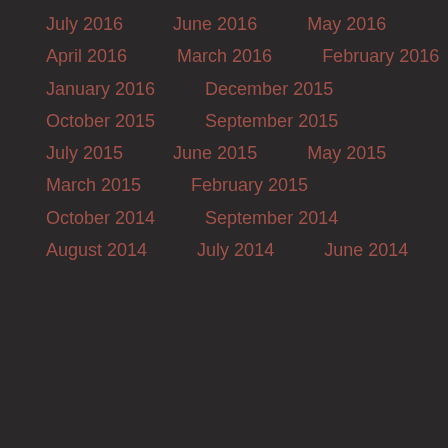July 2016
June 2016
May 2016
April 2016
March 2016
February 2016
January 2016
December 2015
October 2015
September 2015
July 2015
June 2015
May 2015
March 2015
February 2015
October 2014
September 2014
August 2014
July 2014
June 2014